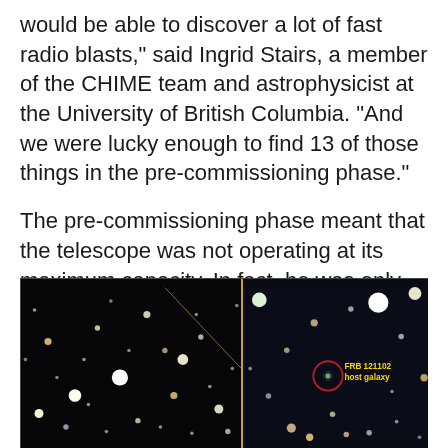would be able to discover a lot of fast radio blasts," said Ingrid Stairs, a member of the CHIME team and astrophysicist at the University of British Columbia. "And we were lucky enough to find 13 of those things in the pre-commissioning phase."
The pre-commissioning phase meant that the telescope was not operating at its maximum capacity. In fact, he was only looking at a quarter of the sky he could observe.
[Figure (photo): Astronomical photograph showing a starfield. The left portion shows a wide-field view of numerous stars against a black background. The right portion shows a zoomed inset view with a red circle highlighting the FRB 121102 host galaxy, labeled in yellow text.]